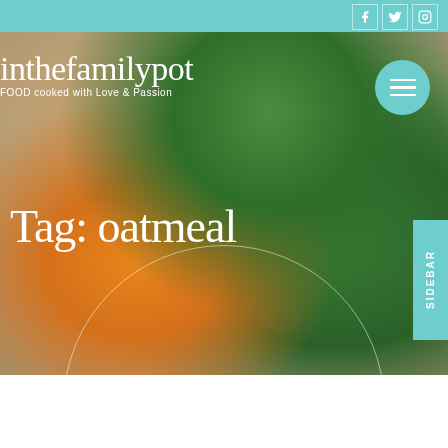[Figure (photo): Food blog website screenshot showing a header with teal top bar with social media icons (Facebook, Twitter, Instagram), a hero image of a bowl of vegetables including green beans, carrots, white beans and fresh parsley/herbs on a blue plate, with site title 'inthefamilypot' and tagline 'FOOD cooked with Love & Passion', a teal hamburger menu button, a large heading 'Tag: oatmeal', a teal SIDEBAR button on the right, and a decorative white circle outline overlay]
inthefamilypot
FOOD cooked with Love & Passion
Tag: oatmeal